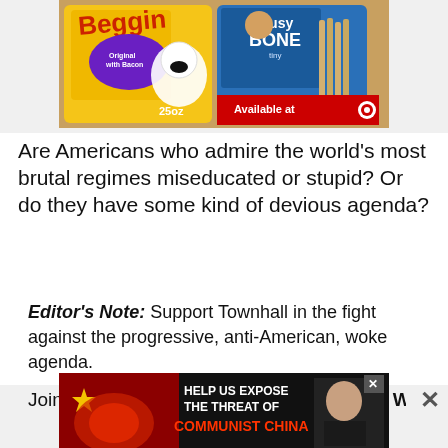[Figure (photo): Advertisement image showing Purina Beggin' Strips dog treats (yellow packaging, 25oz) and Busy Bone Tiny dog chews (blue packaging, 30 pieces) with 'Available at Target' label, displayed with autumn leaves background.]
Are Americans who admire the world's most brutal regimes miseducated or stupid? Or do they have some kind of devious agenda?
Editor's Note: Support Townhall in the fight against the progressive, anti-American, woke agenda.
Join Townhall VIP and use the promo code WOKE to
[Figure (photo): Advertisement banner: 'HELP US EXPOSE THE THREAT OF COMMUNIST CHINA' with Chinese flag, currency symbols, and a figure on dark/red background. X close button visible.]